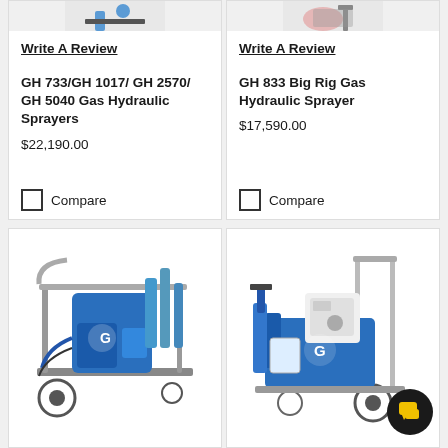[Figure (photo): Partial top view of GH 733/GH 1017/GH 2570/GH 5040 Gas Hydraulic Sprayer product image (cropped)]
[Figure (photo): Partial top view of GH 833 Big Rig Gas Hydraulic Sprayer product image (cropped)]
Write A Review
GH 733/GH 1017/ GH 2570/ GH 5040 Gas Hydraulic Sprayers
$22,190.00
Compare
Write A Review
GH 833 Big Rig Gas Hydraulic Sprayer
$17,590.00
Compare
[Figure (photo): GH Gas Hydraulic Sprayer product photo - blue industrial sprayer with frame and hoses]
[Figure (photo): GH 833 Big Rig Gas Hydraulic Sprayer product photo - blue sprayer with engine]